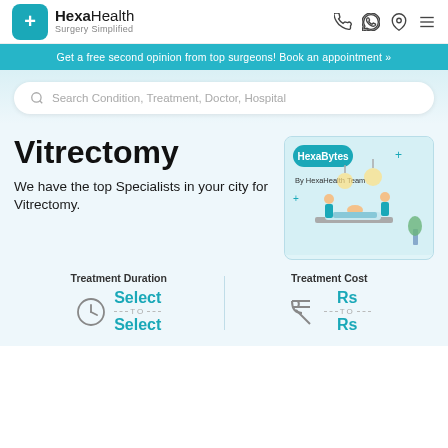HexaHealth Surgery Simplified
Get a free second opinion from top surgeons! Book an appointment »
Search Condition, Treatment, Doctor, Hospital
Vitrectomy
We have the top Specialists in your city for Vitrectomy.
[Figure (illustration): HexaBytes illustration showing medical professionals performing surgery, with HexaHealth Team branding]
Treatment Duration
Select TO Select
Treatment Cost
Rs TO Rs